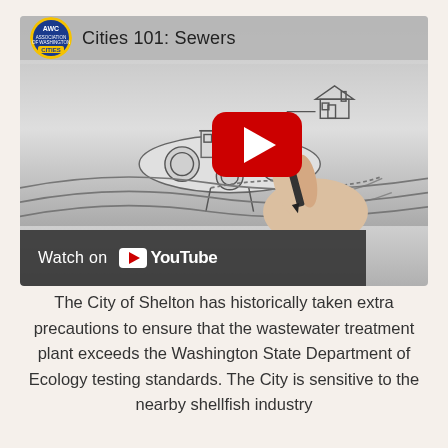[Figure (screenshot): YouTube video thumbnail for 'Cities 101: Sewers' by AWC (Association of Washington Cities). Shows a sketch-style illustration of a wastewater treatment plant with a house connected via pipes, and a hand drawing the sketch. Features the YouTube play button overlay and a 'Watch on YouTube' bar at the bottom.]
The City of Shelton has historically taken extra precautions to ensure that the wastewater treatment plant exceeds the Washington State Department of Ecology testing standards. The City is sensitive to the nearby shellfish industry